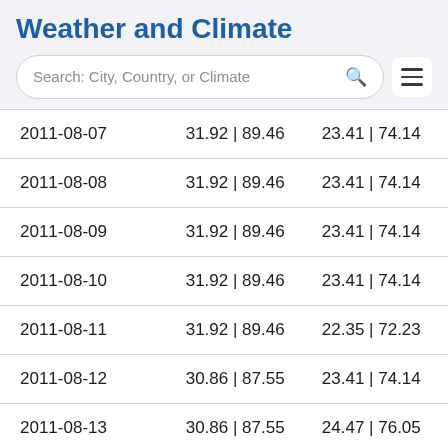Weather and Climate
[Figure (screenshot): Search bar with placeholder text 'Search: City, Country, or Climate' and a hamburger menu icon]
| 2011-08-07 | 31.92 | 89.46 | 23.41 | 74.14 |
| 2011-08-08 | 31.92 | 89.46 | 23.41 | 74.14 |
| 2011-08-09 | 31.92 | 89.46 | 23.41 | 74.14 |
| 2011-08-10 | 31.92 | 89.46 | 23.41 | 74.14 |
| 2011-08-11 | 31.92 | 89.46 | 22.35 | 72.23 |
| 2011-08-12 | 30.86 | 87.55 | 23.41 | 74.14 |
| 2011-08-13 | 30.86 | 87.55 | 24.47 | 76.05 |